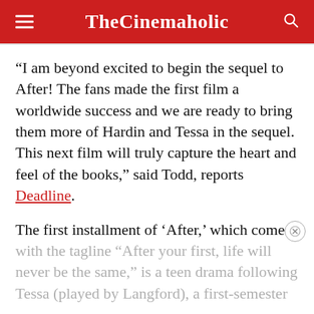TheCinemaholic
“I am beyond excited to begin the sequel to After! The fans made the first film a worldwide success and we are ready to bring them more of Hardin and Tessa in the sequel. This next film will truly capture the heart and feel of the books,” said Todd, reports Deadline.
The first installment of ‘After,’ which comes with the tagline “After your first, life will never be the same,” is a teen drama following Tessa (played by Langford), a first-semester